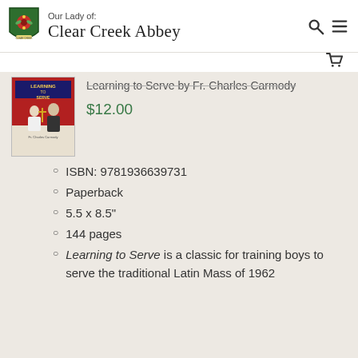Our Lady of: Clear Creek Abbey
[Figure (photo): Book cover of 'Learning to Serve' showing a boy in white serving at Mass with a priest]
Learning to Serve by Fr. Charles Carmody
$12.00
ISBN: 9781936639731
Paperback
5.5 x 8.5"
144 pages
Learning to Serve is a classic for training boys to serve the traditional Latin Mass of 1962